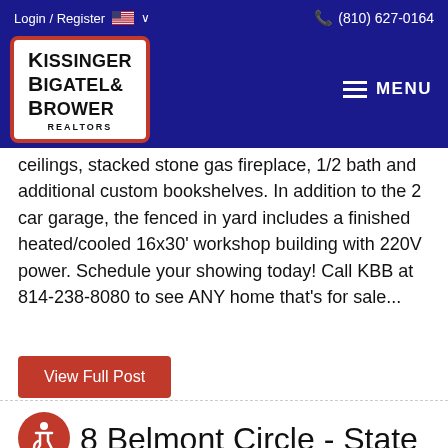Login / Register  (810) 627-0164
[Figure (logo): Kissinger Bigatel & Brower Realtors logo in white box with red border]
ceilings, stacked stone gas fireplace, 1/2 bath and additional custom bookshelves. In addition to the 2 car garage, the fenced in yard includes a finished heated/cooled 16x30' workshop building with 220V power. Schedule your showing today! Call KBB at 814-238-8080 to see ANY home that's for sale...
View Full Post
8 Belmont Circle - State